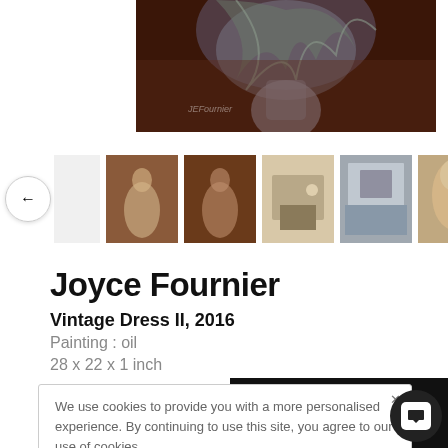[Figure (photo): Partial view of a painting showing a figure in a grey dress with floral/botanical elements above, brown/dark background]
[Figure (photo): Thumbnail strip showing 5 thumbnails of artwork from different angles and contextual shots, with navigation arrows on left and right]
Joyce Fournier
Vintage Dress II, 2016
Painting : oil
28 x 22 x 1 inch
We use cookies to provide you with a more personalised experience. By continuing to use this site, you agree to our use of cookies. Find out more
Make an offer